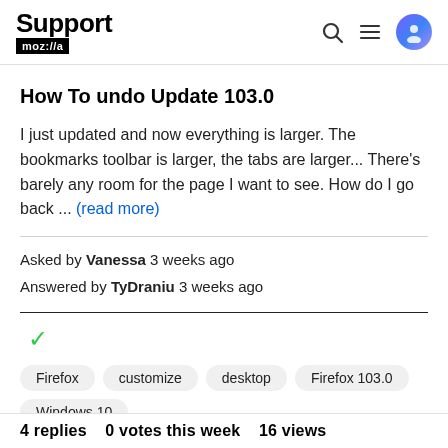Support mozilla//a
How To undo Update 103.0
I just updated and now everything is larger. The bookmarks toolbar is larger, the tabs are larger... There's barely any room for the page I want to see. How do I go back ... (read more)
Asked by Vanessa 3 weeks ago
Answered by TyDraniu 3 weeks ago
Firefox
customize
desktop
Firefox 103.0
Windows 10
4 replies   0 votes this week   16 views